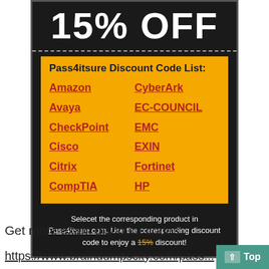15% OFF
Pass4itsure Discount Code List:
Amazon
CyberArk
Avaya
EC-COUNCIL
CheckPoint
EMC
Cisco
EXIN
Citrix
Fortinet
CompTIA
HP
Selecet the corresponding product in Pass4itsure.com. Use the corresponding discount code to enjoy a 15% discount!
Get more exam discount codes:
https://www.braindumpscity.com/pass...